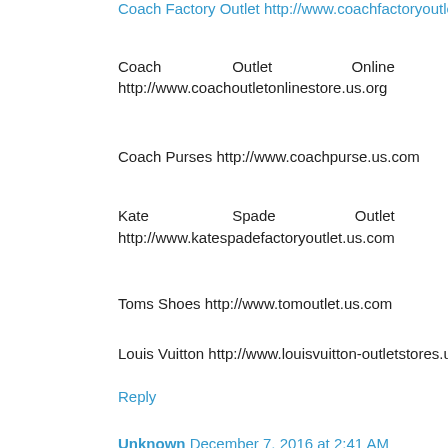Coach Factory Outlet http://www.coachfactoryoutlet.us.org
Coach Outlet Online http://www.coachoutletonlinestore.us.org
Coach Purses http://www.coachpurse.us.com
Kate Spade Outlet http://www.katespadefactoryoutlet.us.com
Toms Shoes http://www.tomoutlet.us.com
Louis Vuitton http://www.louisvuitton-outletstores.us.com
Reply
Unknown December 7, 2016 at 2:41 AM
michael kors outlet store
michael kors outlet
the north face jackets
nba jerseys wholesale
louis vuitton neverfull